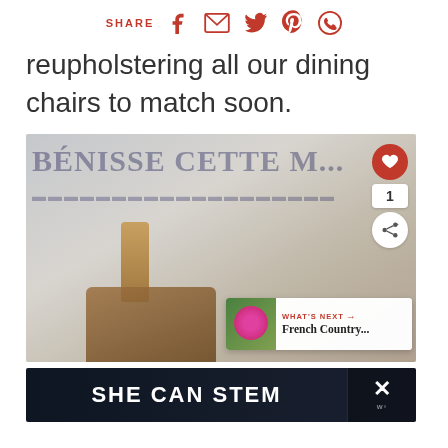SHARE [facebook] [email] [twitter] [pinterest] [whatsapp]
reupholstering all our dining chairs to match soon.
[Figure (photo): Photo of a wine bottle with cork and autumn decorations against a white background with French text overlay. Overlaid UI elements include a heart/like button, share count of 1, a share button, and a 'WHAT'S NEXT' card for 'French Country...']
[Figure (photo): Advertisement banner reading 'SHE CAN STEM' on dark background with a close/X button and logo on the right side]